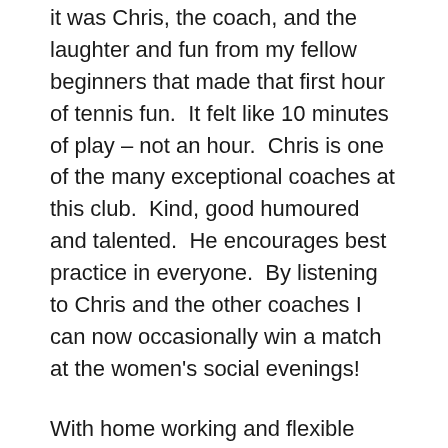it was Chris, the coach, and the laughter and fun from my fellow beginners that made that first hour of tennis fun.  It felt like 10 minutes of play – not an hour.  Chris is one of the many exceptional coaches at this club.  Kind, good humoured and talented.  He encourages best practice in everyone.  By listening to Chris and the other coaches I can now occasionally win a match at the women's social evenings!
With home working and flexible hours, I now get to play tennis 5 times per week.  Sunday at 6pm is beginners class.  Regularly new absolute beginners join the group.  Like me when I started, their coordination and ability to stand in the right position are a work of half-bit all